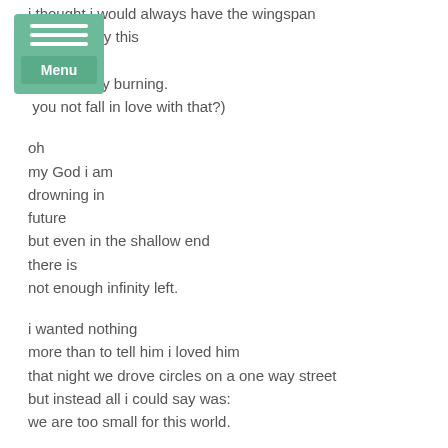i thought i would always have the wingspan
ords to carry this
existence
i am already burning.
you not fall in love with that?)
[Figure (other): Green navigation menu overlay with hamburger icon lines and 'Menu' button]
oh
my God i am
drowning in
future
but even in the shallow end
there is
not enough infinity left.
i wanted nothing
more than to tell him i loved him
that night we drove circles on a one way street
but instead all i could say was:
we are too small for this world.
how will i ever begin to apologize to myself for all of the
things i will never become?